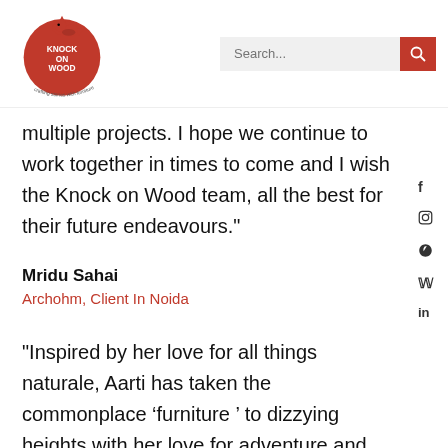[Figure (logo): Knock on Wood logo — red circle with cardinal bird and text KNOCK ON WOOD, crafting stories with furniture]
multiple projects. I hope we continue to work together in times to come and I wish the Knock on Wood team, all the best for their future endeavours."
Mridu Sahai
Archohm, Client In Noida
"Inspired by her love for all things naturale, Aarti has taken the commonplace ‘furniture’ to dizzying heights with her love for adventure and curated ‘knock on wood’